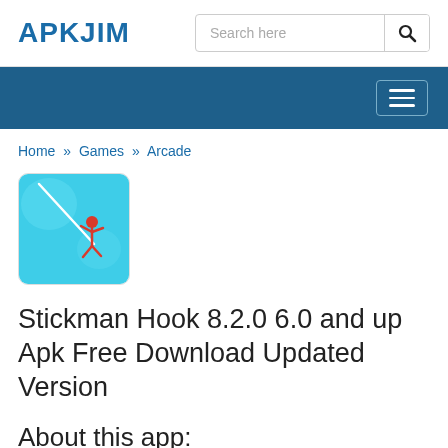APKJIM | Search here
[Figure (screenshot): Navigation bar with hamburger menu icon on dark blue background]
Home » Games » Arcade
[Figure (illustration): Stickman Hook app icon: cyan/turquoise background with a red stickman figure swinging]
Stickman Hook 8.2.0 6.0 and up Apk Free Download Updated Version
About this app: